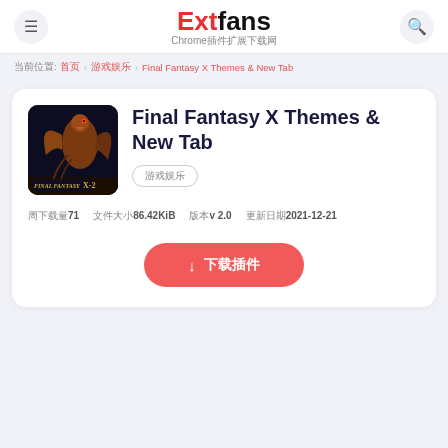Extfans Chrome插件扩展下载网
当前位置: 首页 › 游戏娱乐 › Final Fantasy X Themes & New Tab
Final Fantasy X Themes & New Tab
游戏娱乐
周下载量71  文件大小86.42KiB  版本v 2.0  更新日期2021-12-21
↓ 下载插件